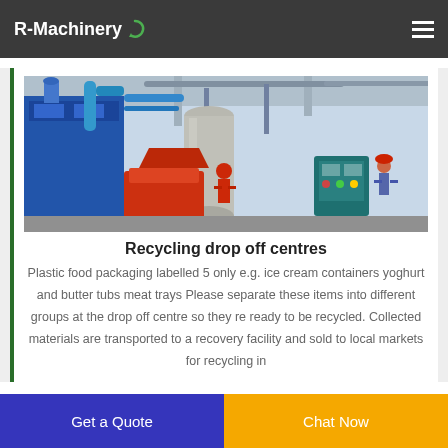R-Machinery
[Figure (photo): Industrial recycling machinery in a factory setting with large blue machine, red feeder, cylindrical tanks, pipes, control panel, and workers in a warehouse.]
Recycling drop off centres
Plastic food packaging labelled 5 only e.g. ice cream containers yoghurt and butter tubs meat trays Please separate these items into different groups at the drop off centre so they re ready to be recycled. Collected materials are transported to a recovery facility and sold to local markets for recycling in
Get a Quote  Chat Now